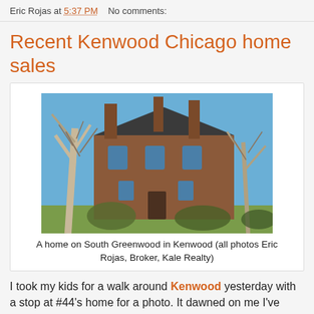Eric Rojas at 5:37 PM   No comments:
Recent Kenwood Chicago home sales
[Figure (photo): A brick historic home partially obscured by bare winter trees on South Greenwood in Kenwood, Chicago, under a blue sky.]
A home on South Greenwood in Kenwood (all photos Eric Rojas, Broker, Kale Realty)
I took my kids for a walk around Kenwood yesterday with a stop at #44's home for a photo. It dawned on me I've taken my two older kids around a couple times but the eight and five year olds had not been to the neighborhood. My eight